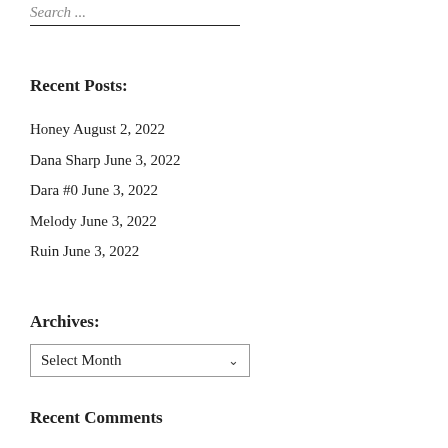Search ...
Recent Posts:
Honey August 2, 2022
Dana Sharp June 3, 2022
Dara #0 June 3, 2022
Melody June 3, 2022
Ruin June 3, 2022
Archives:
Select Month
Recent Comments